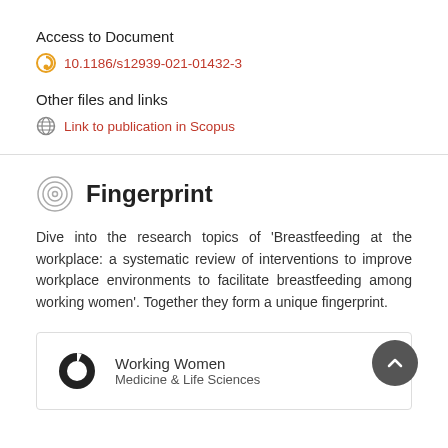Access to Document
10.1186/s12939-021-01432-3
Other files and links
Link to publication in Scopus
Fingerprint
Dive into the research topics of 'Breastfeeding at the workplace: a systematic review of interventions to improve workplace environments to facilitate breastfeeding among working women'. Together they form a unique fingerprint.
Working Women
Medicine & Life Sciences